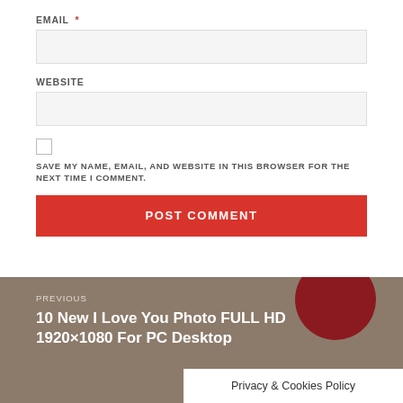EMAIL *
WEBSITE
SAVE MY NAME, EMAIL, AND WEBSITE IN THIS BROWSER FOR THE NEXT TIME I COMMENT.
POST COMMENT
PREVIOUS
10 New I Love You Photo FULL HD 1920×1080 For PC Desktop
Privacy & Cookies Policy